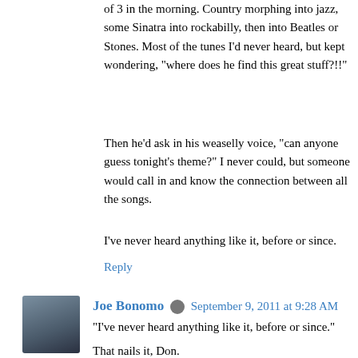of 3 in the morning. Country morphing into jazz, some Sinatra into rockabilly, then into Beatles or Stones. Most of the tunes I'd never heard, but kept wondering, "where does he find this great stuff?!!"
Then he'd ask in his weaselly voice, "can anyone guess tonight's theme?" I never could, but someone would call in and know the connection between all the songs.
I've never heard anything like it, before or since.
Reply
Joe Bonomo  September 9, 2011 at 9:28 AM
"I've never heard anything like it, before or since."
That nails it, Don.
Reply
Anonymous  June 17, 2012 at 4:16 PM